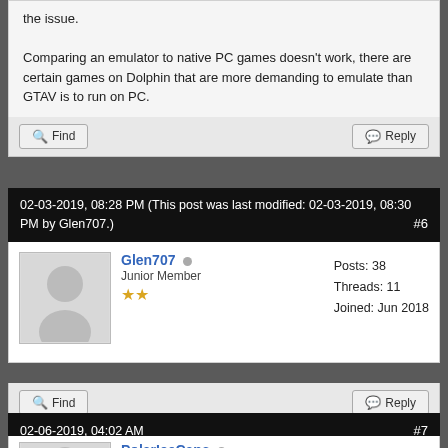the issue.

Comparing an emulator to native PC games doesn't work, there are certain games on Dolphin that are more demanding to emulate than GTAV is to run on PC.
Find
Reply
02-03-2019, 08:28 PM (This post was last modified: 02-03-2019, 08:30 PM by Glen707.) #6
Glen707
Junior Member
★★
Posts: 38
Threads: 11
Joined: Jun 2018
Try changing the backend from OpenGL to Direct3D11 or Vulkan. You should be able to with a 1070 ti. Once you've done that select your 1070 ti as your adapter.
Find
Reply
02-06-2019, 04:02 AM #7
PolarIceCaps
Junior Member
★★
Posts: 7
Threads: 1